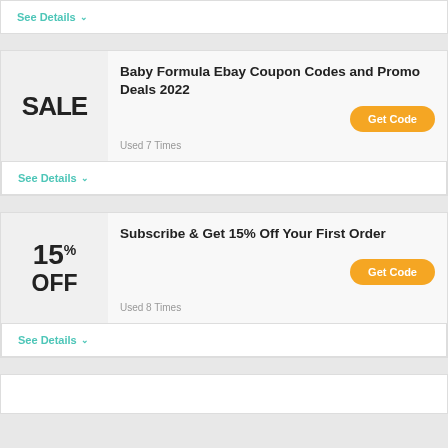See Details
Baby Formula Ebay Coupon Codes and Promo Deals 2022
SALE
Get Code
Used 7 Times
See Details
Subscribe & Get 15% Off Your First Order
15% OFF
Get Code
Used 8 Times
See Details